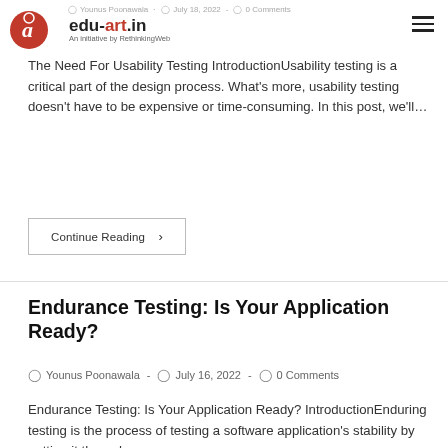edu-art.in – An initiative by RethinkingWeb | Younus Poonawala · July 18, 2022 · 0 Comments
The Need For Usability Testing IntroductionUsability testing is a critical part of the design process. What's more, usability testing doesn't have to be expensive or time-consuming. In this post, we'll…
Continue Reading ›
Endurance Testing: Is Your Application Ready?
Younus Poonawala · July 16, 2022 · 0 Comments
Endurance Testing: Is Your Application Ready? IntroductionEnduring testing is the process of testing a software application's stability by putting it through